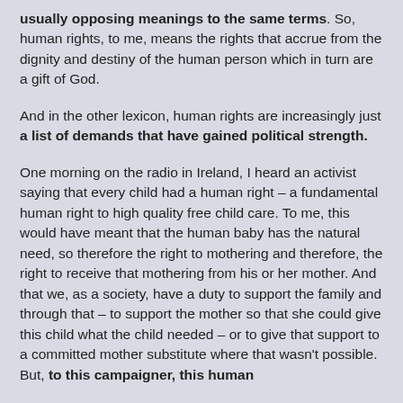usually opposing meanings to the same terms. So, human rights, to me, means the rights that accrue from the dignity and destiny of the human person which in turn are a gift of God.
And in the other lexicon, human rights are increasingly just a list of demands that have gained political strength.
One morning on the radio in Ireland, I heard an activist saying that every child had a human right – a fundamental human right to high quality free child care. To me, this would have meant that the human baby has the natural need, so therefore the right to mothering and therefore, the right to receive that mothering from his or her mother. And that we, as a society, have a duty to support the family and through that – to support the mother so that she could give this child what the child needed – or to give that support to a committed mother substitute where that wasn't possible. But, to this campaigner, this human